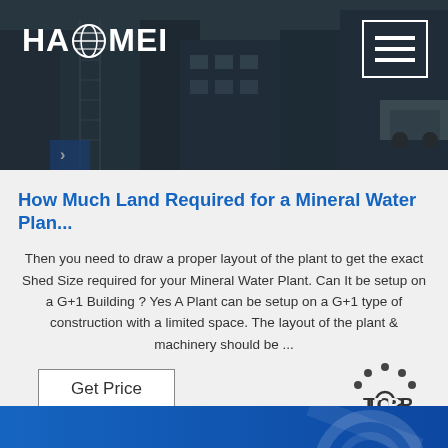[Figure (photo): Industrial facility/machinery site photo used as header banner background with dark overlay]
HAOMEI (logo with globe icon) and hamburger menu button
How Much Land Required for a Mineral Water Plan...
Then you need to draw a proper layout of the plant to get the exact Shed Size required for your Mineral Water Plant. Can It be setup on a G+1 Building ? Yes A Plant can be setup on a G+1 type of construction with a limited space. The layout of the plant & machinery should be ...
[Figure (other): Get Price button and TOP navigation button]
[Figure (photo): Blue gradient footer strip with partial circular/globe imagery]